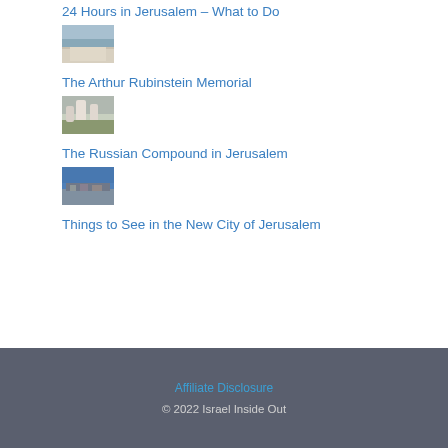24 Hours in Jerusalem – What to Do
[Figure (photo): Thumbnail photo for 24 Hours in Jerusalem – What to Do article]
The Arthur Rubinstein Memorial
[Figure (photo): Thumbnail photo for The Arthur Rubinstein Memorial article]
The Russian Compound in Jerusalem
[Figure (photo): Thumbnail photo for The Russian Compound in Jerusalem article]
Things to See in the New City of Jerusalem
Affiliate Disclosure
© 2022 Israel Inside Out